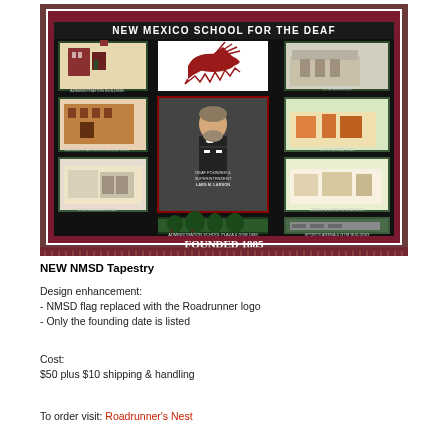[Figure (photo): Photo of an NMSD (New Mexico School for the Deaf) tapestry/blanket showing the school name at top, multiple woven images of school buildings, a roadrunner mascot logo, a portrait labeled 'Deaf Founder & Superintendent Lars M. Larson', and 'Founded 1885' at the bottom, with a dark background and red/maroon border with fringe.]
NEW NMSD Tapestry
Design enhancement:
- NMSD flag replaced with the Roadrunner logo
- Only the founding date is listed
Cost:
$50 plus $10 shipping & handling
To order visit: Roadrunner's Nest